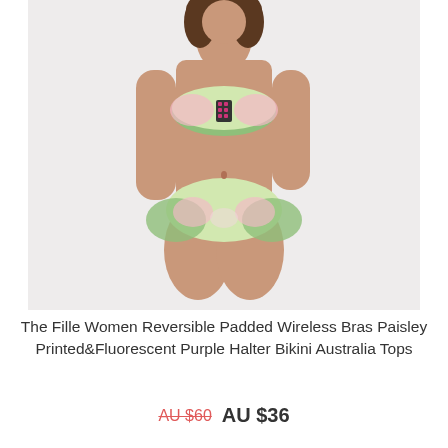[Figure (photo): A woman modeling a paisley printed bikini set with green, pink and cream pattern and magenta/pink accent details at the center front of the bandeau top.]
The Fille Women Reversible Padded Wireless Bras Paisley Printed&Fluorescent Purple Halter Bikini Australia Tops
AU $60  AU $36